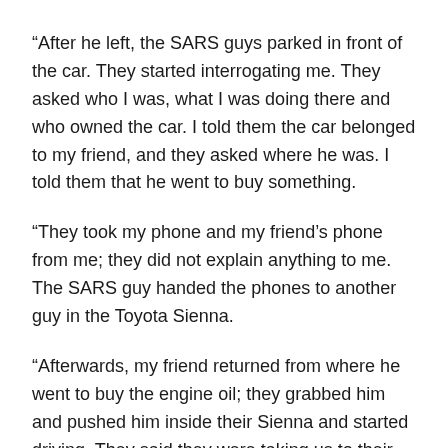“After he left, the SARS guys parked in front of the car. They started interrogating me. They asked who I was, what I was doing there and who owned the car. I told them the car belonged to my friend, and they asked where he was. I told them that he went to buy something.
“They took my phone and my friend’s phone from me; they did not explain anything to me. The SARS guy handed the phones to another guy in the Toyota Sienna.
“Afterwards, my friend returned from where he went to buy the engine oil; they grabbed him and pushed him inside their Sienna and started driving. They said they were taking us to their headquarters”.
Abubakar explained that one of the officers drove Kazeem’s